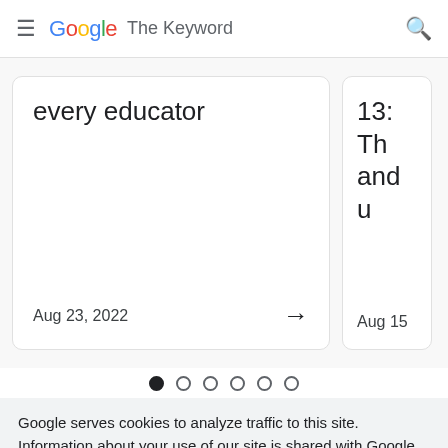Google The Keyword
every educator
Aug 23, 2022 →
13: Th and u
Aug 15
● ○ ○ ○ ○ ○
Google serves cookies to analyze traffic to this site. Information about your use of our site is shared with Google for that purpose. See details.
OK